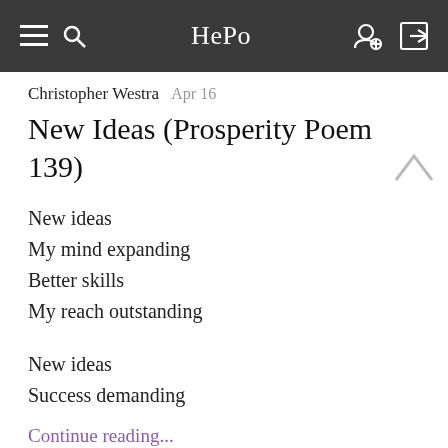HePo
Christopher Westra  Apr 16
New Ideas (Prosperity Poem 139)
New ideas
My mind expanding
Better skills
My reach outstanding
New ideas
Success demanding
Continue reading...
EmVidar  Apr 12
Another promise